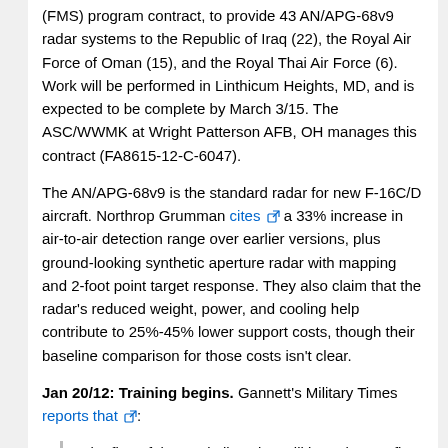(FMS) program contract, to provide 43 AN/APG-68v9 radar systems to the Republic of Iraq (22), the Royal Air Force of Oman (15), and the Royal Thai Air Force (6). Work will be performed in Linthicum Heights, MD, and is expected to be complete by March 3/15. The ASC/WWMK at Wright Patterson AFB, OH manages this contract (FA8615-12-C-6047).
The AN/APG-68v9 is the standard radar for new F-16C/D aircraft. Northrop Grumman cites [link] a 33% increase in air-to-air detection range over earlier versions, plus ground-looking synthetic aperture radar with mapping and 2-foot point target response. They also claim that the radar's reduced weight, power, and cooling help contribute to 25%-45% lower support costs, though their baseline comparison for those costs isn't clear.
Jan 20/12: Training begins. Gannett's Military Times reports that [link]:
“The first of the Iraqi pilots that will learn how to fly F-